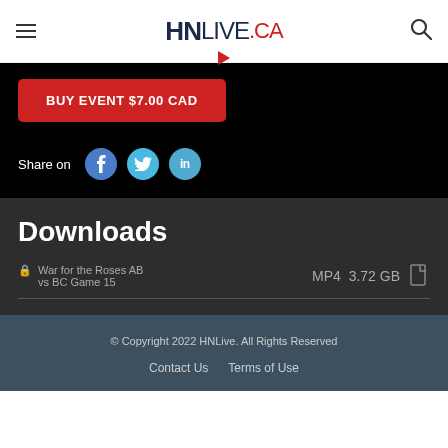HNLIVE.CA
BUY EVENT $7.00 CAD
Share on
Downloads
War for the Roses AB vs BC Game 15  MP4  3.72 GB
© Copyright 2022 HNLive. All Rights Reserved
Contact Us   Terms of Use